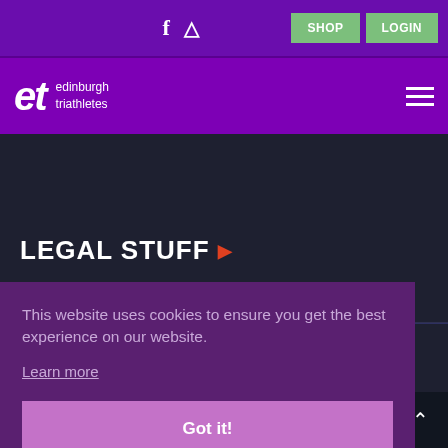SHOP  LOGIN  [Facebook icon] [Strava icon]
[Figure (logo): Edinburgh Triathletes logo — 'et' in white italic bold text with 'edinburgh triathletes' text beside it on purple background]
LEGAL STUFF
Privacy Policy
This website uses cookies to ensure you get the best experience on our website.
Learn more
Got it!